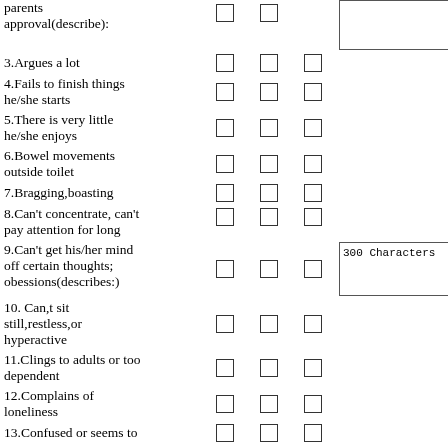| Item | Col1 | Col2 | Col3 | Notes |
| --- | --- | --- | --- | --- |
| parents approval(describe): | ☐ | ☐ | ☐ | 300 Characters box |
| 3.Argues a lot | ☐ | ☐ | ☐ |  |
| 4.Fails to finish things he/she starts | ☐ | ☐ | ☐ |  |
| 5.There is very little he/she enjoys | ☐ | ☐ | ☐ |  |
| 6.Bowel movements outside toilet | ☐ | ☐ | ☐ |  |
| 7.Bragging,boasting | ☐ | ☐ | ☐ |  |
| 8.Can't concentrate, can't pay attention for long | ☐ | ☐ | ☐ |  |
| 9.Can't get his/her mind off certain thoughts; obessions(describes:) | ☐ | ☐ | ☐ | 300 Characters box |
| 10. Can,t sit still,restless,or hyperactive | ☐ | ☐ | ☐ |  |
| 11.Clings to adults or too dependent | ☐ | ☐ | ☐ |  |
| 12.Complains of loneliness | ☐ | ☐ | ☐ |  |
| 13.Confused or seems to | ☐ | ☐ | ☐ |  |